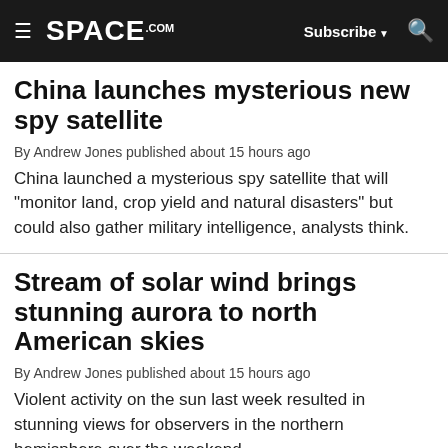SPACE.com — Subscribe — Search
China launches mysterious new spy satellite
By Andrew Jones published about 15 hours ago
China launched a mysterious spy satellite that will "monitor land, crop yield and natural disasters" but could also gather military intelligence, analysts think.
Stream of solar wind brings stunning aurora to north American skies
By Andrew Jones published about 15 hours ago
Violent activity on the sun last week resulted in stunning views for observers in the northern hemisphere over the weekend.